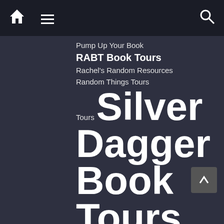Home | Menu | Search
Pump Up Your Book
RABT Book Tours
Rachel's Random Resources
Random Things Tours
Silver Dagger Book Tours
Summer Countdown Blitz
Thriller
Valentines Countdown
weekly link